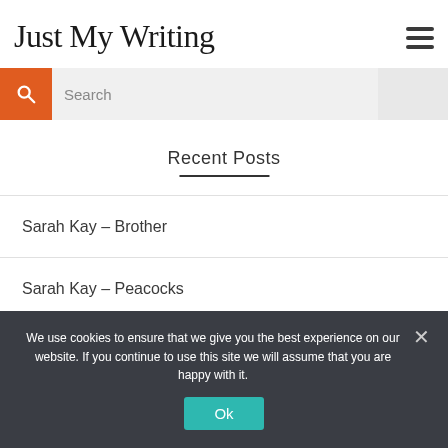Just My Writing
[Figure (other): Search bar with orange search icon button and text input field]
Recent Posts
Sarah Kay – Brother
Sarah Kay – Peacocks
Sarah Kay – Jakarta January
Ρηχά
We use cookies to ensure that we give you the best experience on our website. If you continue to use this site we will assume that you are happy with it.